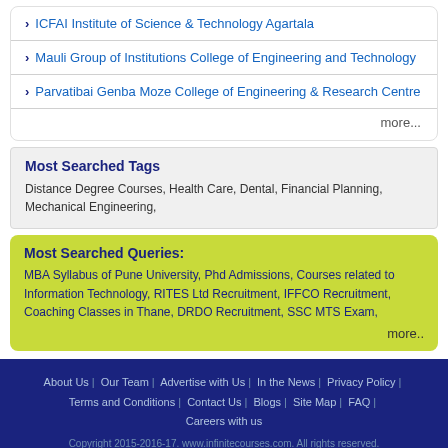ICFAI Institute of Science & Technology Agartala
Mauli Group of Institutions College of Engineering and Technology
Parvatibai Genba Moze College of Engineering & Research Centre
more...
Most Searched Tags
Distance Degree Courses, Health Care, Dental, Financial Planning, Mechanical Engineering,
Most Searched Queries:
MBA Syllabus of Pune University, Phd Admissions, Courses related to Information Technology, RITES Ltd Recruitment, IFFCO Recruitment, Coaching Classes in Thane, DRDO Recruitment, SSC MTS Exam,
more..
About Us | Our Team | Advertise with Us | In the News | Privacy Policy | Terms and Conditions | Contact Us | Blogs | Site Map | FAQ | Careers with us
Copyright 2015-2016-17. www.infinitecourses.com. All rights reserved.